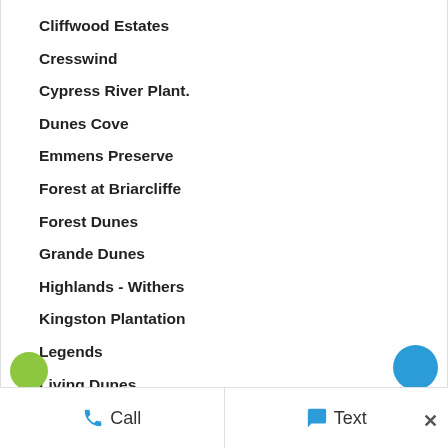Cliffwood Estates
Cresswind
Cypress River Plant.
Dunes Cove
Emmens Preserve
Forest at Briarcliffe
Forest Dunes
Grande Dunes
Highlands - Withers
Kingston Plantation
Legends
Living Dunes
Long Bay Estates
Call   Text